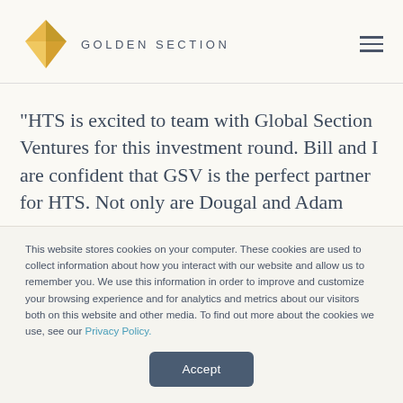GOLDEN SECTION
“HTS is excited to team with Global Section Ventures for this investment round. Bill and I are confident that GSV is the perfect partner for HTS. Not only are Dougal and Adam
This website stores cookies on your computer. These cookies are used to collect information about how you interact with our website and allow us to remember you. We use this information in order to improve and customize your browsing experience and for analytics and metrics about our visitors both on this website and other media. To find out more about the cookies we use, see our Privacy Policy.